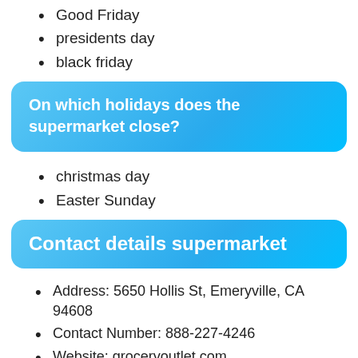Good Friday
presidents day
black friday
On which holidays does the supermarket close?
christmas day
Easter Sunday
Contact details supermarket
Address: 5650 Hollis St, Emeryville, CA 94608
Contact Number: 888-227-4246
Website: groceryoutlet.com